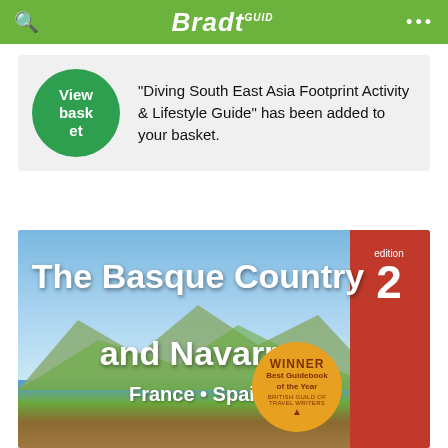Bradt
"Diving South East Asia Footprint Activity & Lifestyle Guide" has been added to your basket.
[Figure (illustration): Book cover for 'The Basque Country and Navarre, France & Spain' Bradt Guide, 2nd edition. Winner of Best Guidebook of the Year, British Guild of Travel Writers. Cover shows a scenic landscape with mountains and a town.]